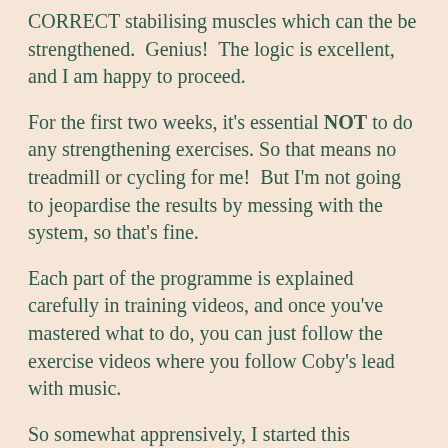CORRECT stabilising muscles which can the be strengthened.  Genius!  The logic is excellent, and I am happy to proceed.
For the first two weeks, it's essential NOT to do any strengthening exercises. So that means no treadmill or cycling for me!  But I'm not going to jeopardise the results by messing with the system, so that's fine.
Each part of the programme is explained carefully in training videos, and once you've mastered what to do, you can just follow the exercise videos where you follow Coby's lead with music.
So somewhat apprensively, I started this morning.  The whole sequence took me 20 minutes – not too long...  But the guide says to stop here.